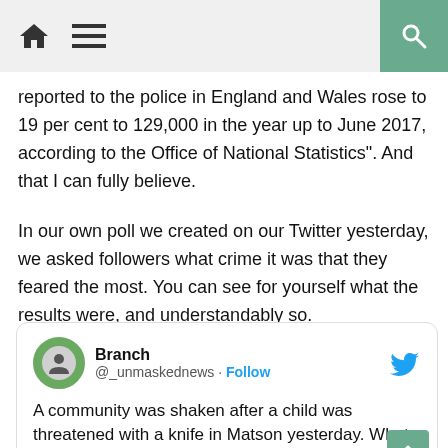Home menu search
reported to the police in England and Wales rose to 19 per cent to 129,000 in the year up to June 2017, according to the Office of National Statistics". And that I can fully believe.
In our own poll we created on our Twitter yesterday, we asked followers what crime it was that they feared the most. You can see for yourself what the results were, and understandably so.
[Figure (screenshot): Tweet from @_unmaskednews (Branch) with Follow button and Twitter bird icon. Tweet text: A community was shaken after a child was threatened with a knife in Matson yesterday. What crimes do you fear the most?]